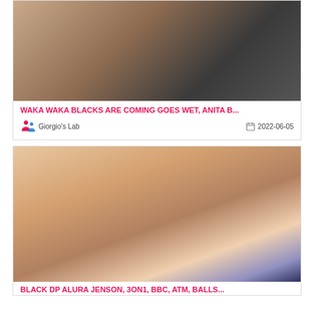[Figure (photo): Adult content photo - top card image]
WAKA WAKA BLACKS ARE COMING GOES WET, ANITA B...
Giorgio's Lab   2022-06-05
[Figure (photo): Adult content photo - bottom card image]
BLACK DP ALURA JENSON, 3ON1, BBC, ATM, BALLS...